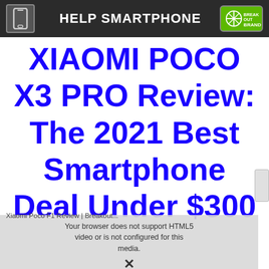HELP SMARTPHONE
XIAOMI POCO X3 PRO Review: The 2021 Best Smartphone Deal Under $300
[Figure (screenshot): Partially loaded video player overlay showing 'Xiaomi Poco F1 Review | Breakout...' with message 'Your browser does not support HTML5 video or is not configured for this media.' and an X close icon]